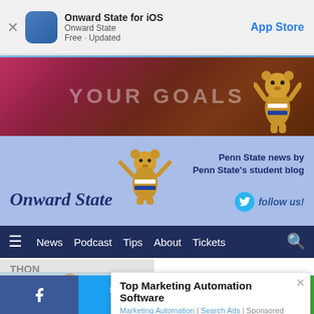[Figure (screenshot): App Store banner for Onward State iOS app showing close button, app icon, app name, and App Store button]
Onward State for iOS
Onward State
Free · Updated
App Store
[Figure (photo): Advertisement banner with text YOUR GOALS and golden mascot figure on dark red/maroon background]
[Figure (logo): Onward State website header with blue background, mascot bear, site logo text, Penn State news tagline, and Twitter follow button]
Penn State news by Penn State's student blog
follow us!
News  Podcast  Tips  About  Tickets
THON
Power Ranking THON 2022
[Figure (photo): Ad overlay popup: Top Marketing Automation Software - Marketing Automation | Search Ads | Sponsored, with photo of woman at computer]
Top Marketing Automation Software
Marketing Automation | Search Ads | Sponsored
[Figure (infographic): Social share bar with Facebook, Twitter, email, and SMS buttons]